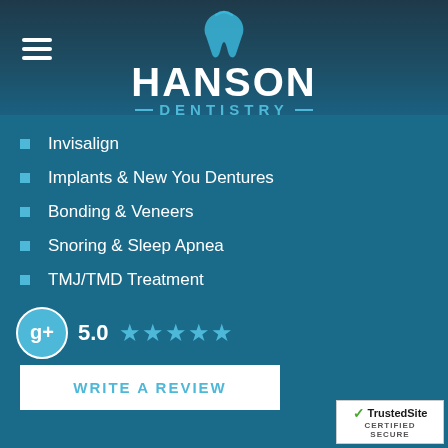[Figure (logo): Hanson Dentistry logo with tooth icon in blue, text HANSON in white and DENTISTRY in cyan with decorative dashes]
Invisalign
Implants & New You Dentures
Bonding & Veneers
Snoring & Sleep Apnea
TMJ/TMD Treatment
5.0 ★★★★★
WRITE A REVIEW
[Figure (logo): TrustedSite Certified Secure badge in bottom-right corner]